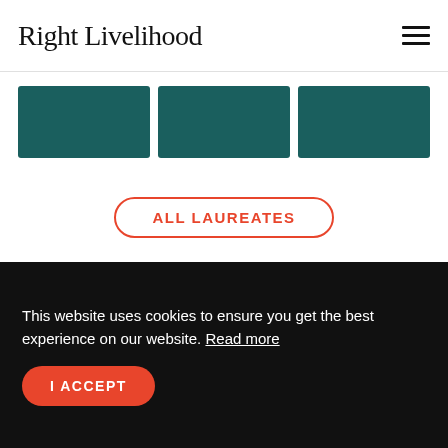Right Livelihood
[Figure (screenshot): Three dark teal card thumbnails in a horizontal strip]
ALL LAUREATES
[Figure (photo): Ice/glacier background photo with text overlay: STANDING UP FOR HUMAN COURAGE]
This website uses cookies to ensure you get the best experience on our website. Read more
I ACCEPT